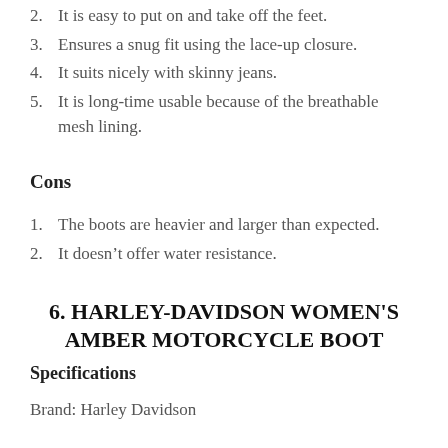2. It is easy to put on and take off the feet.
3. Ensures a snug fit using the lace-up closure.
4. It suits nicely with skinny jeans.
5. It is long-time usable because of the breathable mesh lining.
Cons
1. The boots are heavier and larger than expected.
2. It doesn’t offer water resistance.
6. HARLEY-DAVIDSON WOMEN'S AMBER MOTORCYCLE BOOT
Specifications
Brand: Harley Davidson